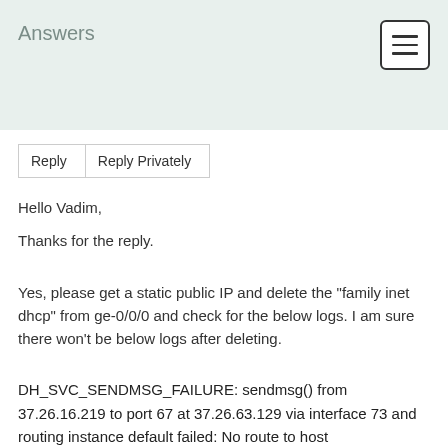Answers
Reply | Reply Privately
Hello Vadim,
Thanks for the reply.
Yes, please get a static public IP and delete the "family inet dhcp" from ge-0/0/0 and check for the below logs. I am sure there won't be below logs after deleting.
DH_SVC_SENDMSG_FAILURE: sendmsg() from 37.26.16.219 to port 67 at 37.26.63.129 via interface 73 and routing instance default failed: No route to host
Regarding the connection lost to the internet: